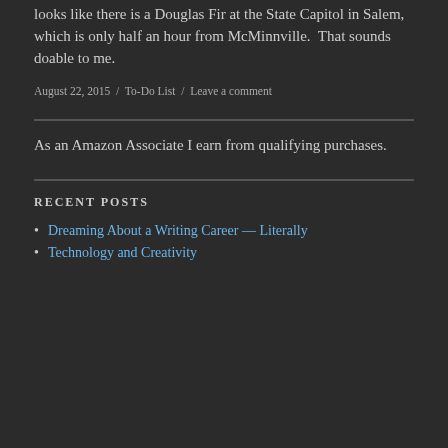looks like there is a Douglas Fir at the State Capitol in Salem, which is only half an hour from McMinnville.  That sounds doable to me.
August 22, 2015 / To-Do List / Leave a comment
As an Amazon Associate I earn from qualifying purchases.
RECENT POSTS
Dreaming About a Writing Career — Literally
Technology and Creativity